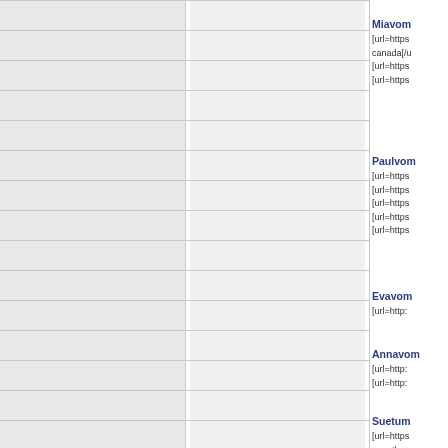Miavom
[url=https canada[/url] [url=https [url=https
Paulvom
[url=https [url=https [url=https [url=https [url=https
Evavom
[url=http:
Annavom
[url=http: [url=http:
Suetum
[url=https over the c [url=https purchase [url=https [url=https